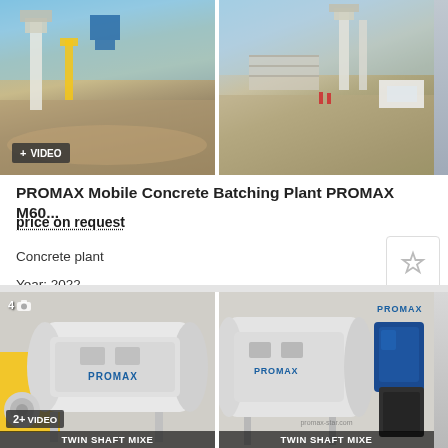[Figure (photo): Top image strip showing two photos of a mobile concrete batching plant on a construction site with mountains in background; left photo has a VIDEO badge overlay]
PROMAX Mobile Concrete Batching Plant PROMAX M60...
price on request
Concrete plant
Year: 2022
Ukraine
[Figure (photo): Bottom image strip showing two photos of PROMAX twin shaft mixers; left photo has a photo count badge '4' and a VIDEO badge; both photos have 'TWIN SHAFT MIXER' label at bottom]